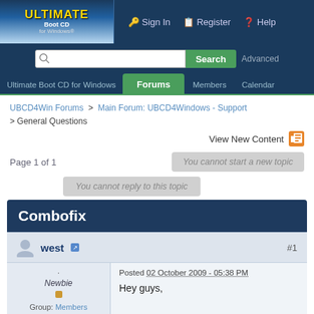ULTIMATE Boot CD for Windows — Sign In | Register | Help
Search  Advanced
Ultimate Boot CD for Windows  Forums  Members  Calendar
UBCD4Win Forums > Main Forum: UBCD4Windows - Support > General Questions
View New Content
Page 1 of 1
You cannot start a new topic
You cannot reply to this topic
Combofix
west  #1
Posted 02 October 2009 - 05:38 PM
Newbie
Group:  Members
Hey guys,